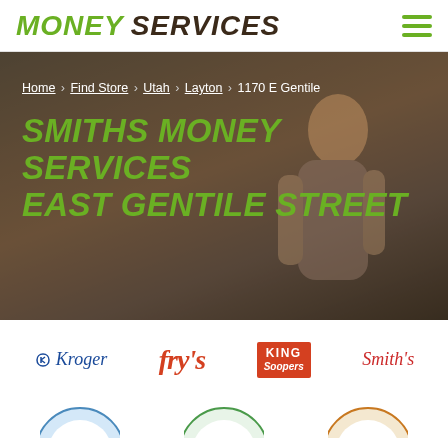MONEY SERVICES
Home › Find Store › Utah › Layton › 1170 E Gentile
SMITHS MONEY SERVICES EAST GENTILE STREET
[Figure (logo): Kroger, Fry's, King Soopers, Smith's brand logos displayed in a horizontal row]
[Figure (logo): Partial logos visible at bottom of page, cut off]